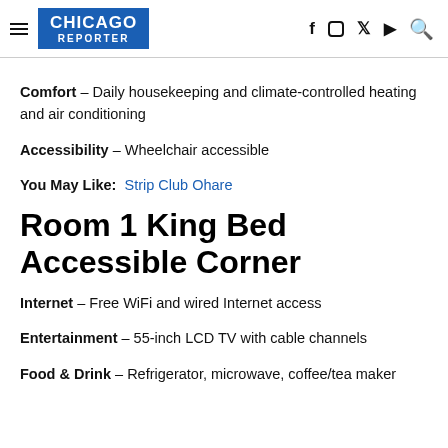CHICAGO REPORTER
Comfort – Daily housekeeping and climate-controlled heating and air conditioning
Accessibility – Wheelchair accessible
You May Like: Strip Club Ohare
Room 1 King Bed Accessible Corner
Internet – Free WiFi and wired Internet access
Entertainment – 55-inch LCD TV with cable channels
Food & Drink – Refrigerator, microwave, coffee/tea maker